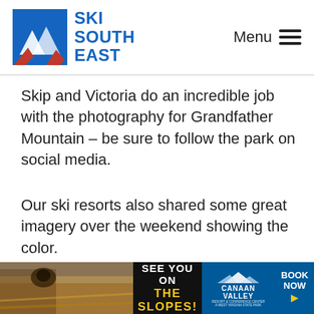SKI SOUTH EAST — Menu
Skip and Victoria do an incredible job with the photography for Grandfather Mountain – be sure to follow the park on social media.
Our ski resorts also shared some great imagery over the weekend showing the color.
It is always awe-inspiring to see our mountains look
[Figure (other): Advertisement banner: photo of golden grassy mountain scene on left, 'SEE YOU ON THE SLOPES!' text center, Canaan Valley Resort & Conference Center logo and 'BOOK NOW' button on right]